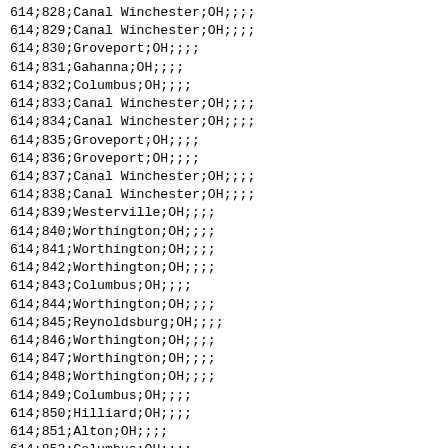| 614;828;Canal Winchester;OH;;;; |
| 614;829;Canal Winchester;OH;;;; |
| 614;830;Groveport;OH;;;; |
| 614;831;Gahanna;OH;;;; |
| 614;832;Columbus;OH;;;; |
| 614;833;Canal Winchester;OH;;;; |
| 614;834;Canal Winchester;OH;;;; |
| 614;835;Groveport;OH;;;; |
| 614;836;Groveport;OH;;;; |
| 614;837;Canal Winchester;OH;;;; |
| 614;838;Canal Winchester;OH;;;; |
| 614;839;Westerville;OH;;;; |
| 614;840;Worthington;OH;;;; |
| 614;841;Worthington;OH;;;; |
| 614;842;Worthington;OH;;;; |
| 614;843;Columbus;OH;;;; |
| 614;844;Worthington;OH;;;; |
| 614;845;Reynoldsburg;OH;;;; |
| 614;846;Worthington;OH;;;; |
| 614;847;Worthington;OH;;;; |
| 614;848;Worthington;OH;;;; |
| 614;849;Columbus;OH;;;; |
| 614;850;Hilliard;OH;;;; |
| 614;851;Alton;OH;;;; |
| 614;852;Columbus;OH;;;; |
| 614;853;Alton;OH;;;; |
| 614;854;Worthington;OH;;;; |
| 614;855;New Albany;OH;;;; |
| 614;856;Reynoldsburg;OH;;;; |
| 614;857;Columbus;OH;;;; |